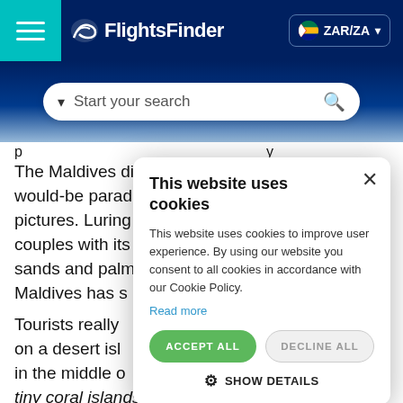[Figure (screenshot): FlightsFinder website header with teal hamburger menu, dark navy background, FlightsFinder logo, ZAR/ZA currency selector, and a rounded search bar reading 'Start your search']
The Maldives differ from other would-be paradise destinations in pictures. Luring couples with its sands and palm Maldives has s
Tourists really on a desert isl in the middle o tiny coral islands and the highest point above sea level is about 3M...
[Figure (screenshot): Cookie consent modal dialog with title 'This website uses cookies', body text, Read more link, ACCEPT ALL and DECLINE ALL buttons, and SHOW DETAILS option with gear icon]